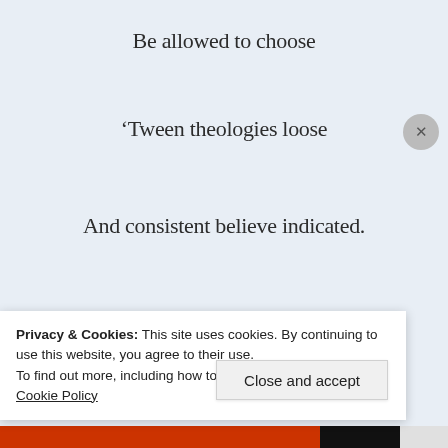Be allowed to choose
‘Tween theologies loose
And consistent believe indicated.
—
Arguments quote Bible verses.
Ignoring any misuse curses
Privacy & Cookies: This site uses cookies. By continuing to use this website, you agree to their use.
To find out more, including how to control cookies, see here: Cookie Policy
Close and accept